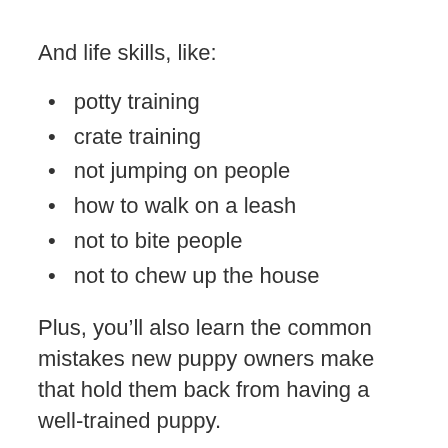And life skills, like:
potty training
crate training
not jumping on people
how to walk on a leash
not to bite people
not to chew up the house
Plus, you’ll also learn the common mistakes new puppy owners make that hold them back from having a well-trained puppy.